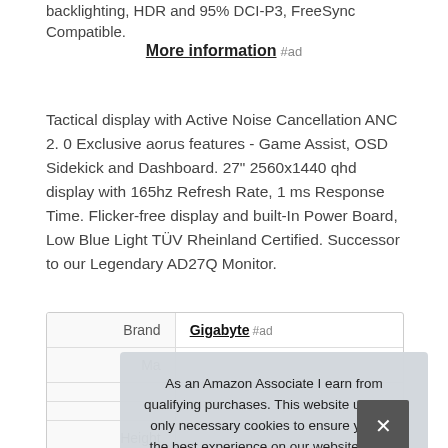backlighting, HDR and 95% DCI-P3, FreeSync Compatible.
More information #ad
Tactical display with Active Noise Cancellation ANC 2. 0 Exclusive aorus features - Game Assist, OSD Sidekick and Dashboard. 27" 2560x1440 qhd display with 165hz Refresh Rate, 1 ms Response Time. Flicker-free display and built-In Power Board, Low Blue Light TÜV Rheinland Certified. Successor to our Legendary AD27Q Monitor.
|  |  |
| --- | --- |
| Brand | Gigabyte #ad |
| Ma… |  |
|  |  |
|  |  |
| Height | … |
As an Amazon Associate I earn from qualifying purchases. This website uses the only necessary cookies to ensure you get the best experience on our website. More information